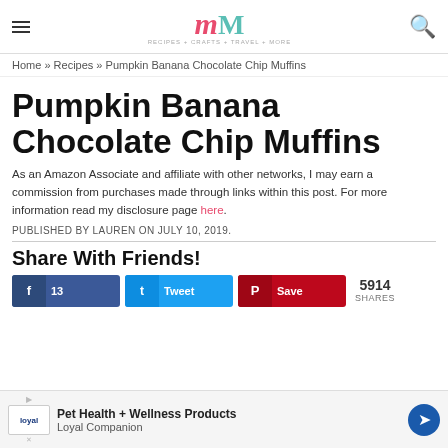mM — RECIPES + CRAFTS + TRAVEL + MORE
Home » Recipes » Pumpkin Banana Chocolate Chip Muffins
Pumpkin Banana Chocolate Chip Muffins
As an Amazon Associate and affiliate with other networks, I may earn a commission from purchases made through links within this post. For more information read my disclosure page here.
PUBLISHED BY LAUREN ON JULY 10, 2019.
Share With Friends!
5914 SHARES